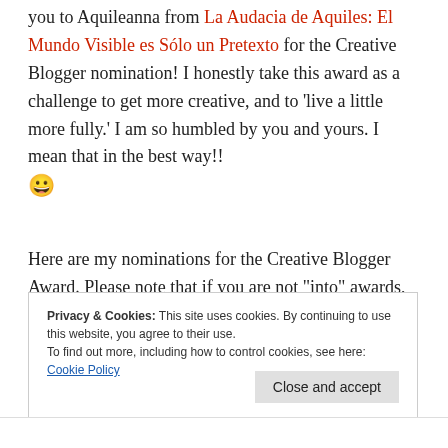you to Aquileanna from La Audacia de Aquiles: El Mundo Visible es Sólo un Pretexto for the Creative Blogger nomination! I honestly take this award as a challenge to get more creative, and to 'live a little more fully.' I am so humbled by you and yours. I mean that in the best way!! 😀
Here are my nominations for the Creative Blogger Award. Please note that if you are not "into" awards, that is fine, just please accept my appreciation for your creativity!!! Also, if you already have the award, then here's another
Privacy & Cookies: This site uses cookies. By continuing to use this website, you agree to their use. To find out more, including how to control cookies, see here: Cookie Policy
Close and accept